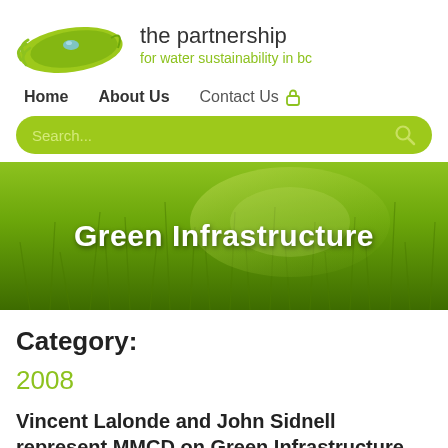[Figure (logo): The Partnership for Water Sustainability in BC logo — green leaf with water drop and swoosh lines]
the partnership for water sustainability in bc
Home   About Us   Contact Us
[Figure (screenshot): Green search bar with placeholder text 'Search...' and magnifying glass icon]
[Figure (photo): Green grass close-up banner image with 'Green Infrastructure' text overlay]
Category:
2008
Vincent Lalonde and John Sidnell represent MMCD on Green Infrastructure